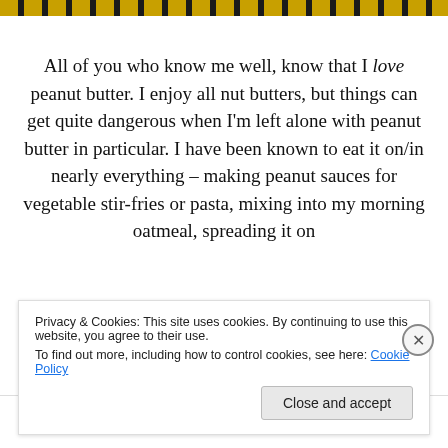[Figure (other): Decorative header bar with repeating yellow and black striped pattern]
All of you who know me well, know that I love peanut butter. I enjoy all nut butters, but things can get quite dangerous when I'm left alone with peanut butter in particular. I have been known to eat it on/in nearly everything – making peanut sauces for vegetable stir-fries or pasta, mixing into my morning oatmeal, spreading it on
Privacy & Cookies: This site uses cookies. By continuing to use this website, you agree to their use.
To find out more, including how to control cookies, see here: Cookie Policy
Close and accept
Advertisements